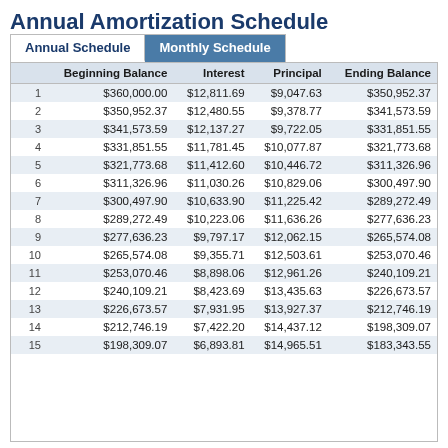Annual Amortization Schedule
|  | Beginning Balance | Interest | Principal | Ending Balance |
| --- | --- | --- | --- | --- |
| 1 | $360,000.00 | $12,811.69 | $9,047.63 | $350,952.37 |
| 2 | $350,952.37 | $12,480.55 | $9,378.77 | $341,573.59 |
| 3 | $341,573.59 | $12,137.27 | $9,722.05 | $331,851.55 |
| 4 | $331,851.55 | $11,781.45 | $10,077.87 | $321,773.68 |
| 5 | $321,773.68 | $11,412.60 | $10,446.72 | $311,326.96 |
| 6 | $311,326.96 | $11,030.26 | $10,829.06 | $300,497.90 |
| 7 | $300,497.90 | $10,633.90 | $11,225.42 | $289,272.49 |
| 8 | $289,272.49 | $10,223.06 | $11,636.26 | $277,636.23 |
| 9 | $277,636.23 | $9,797.17 | $12,062.15 | $265,574.08 |
| 10 | $265,574.08 | $9,355.71 | $12,503.61 | $253,070.46 |
| 11 | $253,070.46 | $8,898.06 | $12,961.26 | $240,109.21 |
| 12 | $240,109.21 | $8,423.69 | $13,435.63 | $226,673.57 |
| 13 | $226,673.57 | $7,931.95 | $13,927.37 | $212,746.19 |
| 14 | $212,746.19 | $7,422.20 | $14,437.12 | $198,309.07 |
| 15 | $198,309.07 | $6,893.81 | $14,965.51 | $183,343.55 |